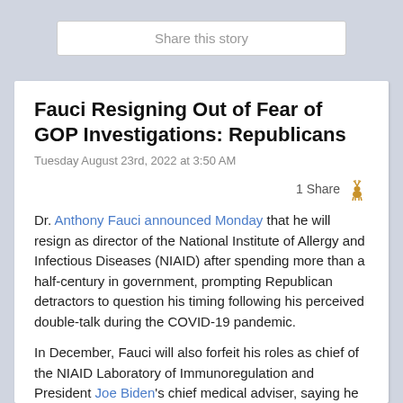Share this story
Fauci Resigning Out of Fear of GOP Investigations: Republicans
Tuesday August 23rd, 2022 at 3:50 AM
1 Share
Dr. Anthony Fauci announced Monday that he will resign as director of the National Institute of Allergy and Infectious Diseases (NIAID) after spending more than a half-century in government, prompting Republican detractors to question his timing following his perceived double-talk during the COVID-19 pandemic.
In December, Fauci will also forfeit his roles as chief of the NIAID Laboratory of Immunoregulation and President Joe Biden's chief medical adviser, saying he wants "to pursue the next chapter of my career." Republicans believe Fauci is leaving government due to the possibility that the GOP will take control of the House in November.
"Dr. Fauci is conveniently resigning from his position in December before House Republicans have an opportunity to hold him accountable for